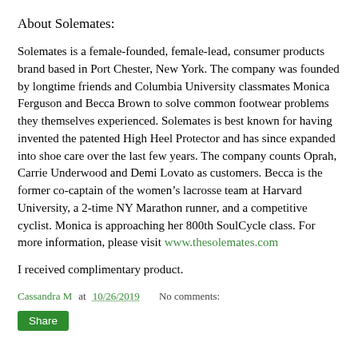About Solemates:
Solemates is a female-founded, female-lead, consumer products brand based in Port Chester, New York. The company was founded by longtime friends and Columbia University classmates Monica Ferguson and Becca Brown to solve common footwear problems they themselves experienced. Solemates is best known for having invented the patented High Heel Protector and has since expanded into shoe care over the last few years. The company counts Oprah, Carrie Underwood and Demi Lovato as customers. Becca is the former co-captain of the women’s lacrosse team at Harvard University, a 2-time NY Marathon runner, and a competitive cyclist. Monica is approaching her 800th SoulCycle class. For more information, please visit www.thesolemates.com
I received complimentary product.
Cassandra M at 10/26/2019    No comments: